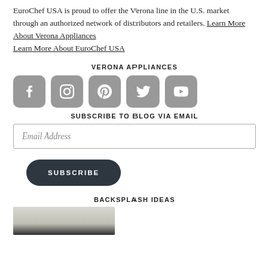EuroChef USA is proud to offer the Verona line in the U.S. market through an authorized network of distributors and retailers. Learn More About Verona Appliances
Learn More About EuroChef USA
VERONA APPLIANCES
[Figure (infographic): Five social media icon buttons: Facebook, Instagram, Pinterest, Twitter, YouTube — dark grey rounded square icons with white symbols]
SUBSCRIBE TO BLOG VIA EMAIL
Email Address
SUBSCRIBE
BACKSPLASH IDEAS
[Figure (photo): Partial photo of a kitchen backsplash area, showing a dark shelf or ledge against a light background]